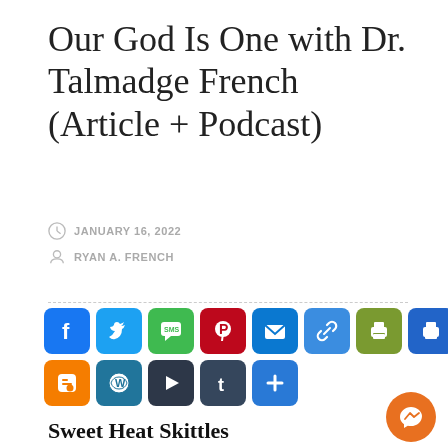Our God Is One with Dr. Talmadge French (Article + Podcast)
JANUARY 16, 2022
RYAN A. FRENCH
[Figure (infographic): Social sharing buttons row: Facebook (blue), Twitter (blue), SMS (green), Pinterest (dark red), Email (blue), Link (blue), Print (olive/green), Print (blue), Evernote (green); second row: Blogger (orange), WordPress (dark), Parler (dark), Tumblr (dark blue), Share+ (blue)]
Sweet Heat Skittles
y father, Dr. Talmadge French and I, just finished recording America and End Time Prophecy, the